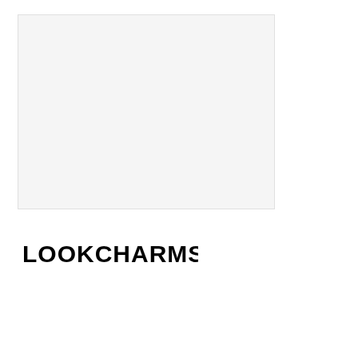[Figure (other): Large light gray rectangular image placeholder area]
LOOKCHARMS